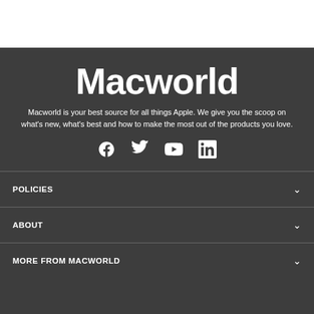Macworld
Macworld is your best source for all things Apple. We give you the scoop on what's new, what's best and how to make the most out of the products you love.
[Figure (infographic): Social media icons: Facebook, Twitter, YouTube, LinkedIn]
POLICIES
ABOUT
MORE FROM MACWORLD